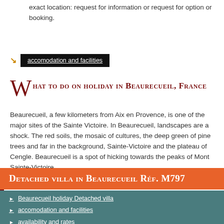exact location: request for information or request for option or booking.
accomodation and facilities
What to do on holiday in Beaurecueil, France
Beaurecueil, a few kilometers from Aix en Provence, is one of the major sites of the Sainte Victoire. In Beaurecueil, landscapes are a shock. The red soils, the mosaic of cultures, the deep green of pine trees and far in the background, Sainte-Victoire and the plateau of Cengle. Beaurecueil is a spot of hicking towards the peaks of Mont Sainte-Victoire
Detached villa in Beaurecueil Réf. M797
Beaurecueil holiday Detached villa
accomodation and facilities
availability and rates
information, option or booking